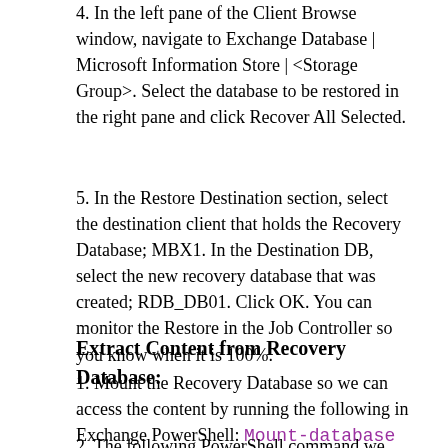4. In the left pane of the Client Browse window, navigate to Exchange Database | Microsoft Information Store | <Storage Group>. Select the database to be restored in the right pane and click Recover All Selected.
5. In the Restore Destination section, select the destination client that holds the Recovery Database; MBX1. In the Destination DB, select the new recovery database that was created; RDB_DB01. Click OK. You can monitor the Restore in the Job Controller so you know when it is 100%.
Extract Content from Recovery Database:
1. Mount the Recovery Database so we can access the content by running the following in Exchange PowerShell: Mount-database RDB_DB01
2. The following PowerShell command we can use to